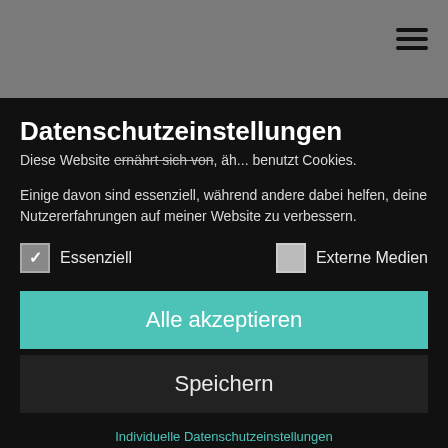[Figure (screenshot): Gray top bar with hamburger menu icon (three horizontal lines) in top right corner]
Datenschutzeinstellungen
Diese Website ernährt sich von, äh... benutzt Cookies.
Einige davon sind essenziell, während andere dabei helfen, deine Nutzererfahrungen auf meiner Website zu verbessern.
☑ Essenziell   ☐ Externe Medien
Alle akzeptieren
Speichern
Individuelle Datenschutzeinstellungen
Cookie-Details | Datenschutzerklärung | Impressum